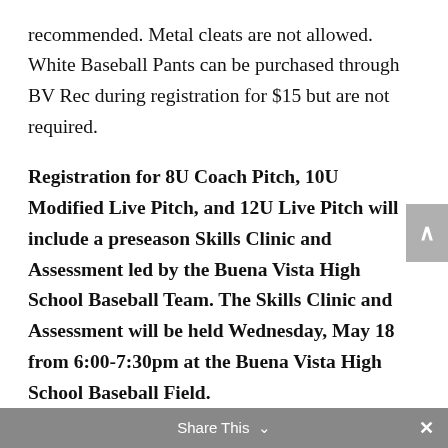recommended. Metal cleats are not allowed. White Baseball Pants can be purchased through BV Rec during registration for $15 but are not required.
Registration for 8U Coach Pitch, 10U Modified Live Pitch, and 12U Live Pitch will include a preseason Skills Clinic and Assessment led by the Buena Vista High School Baseball Team. The Skills Clinic and Assessment will be held Wednesday, May 18 from 6:00-7:30pm at the Buena Vista High School Baseball Field.
Share This ∨  ×